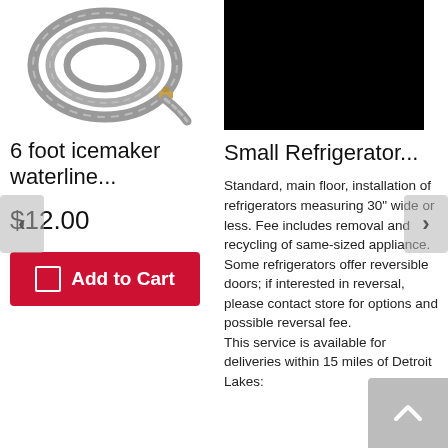[Figure (photo): Grey braided 6 foot icemaker waterline hose coiled, shown on white background]
[Figure (photo): Small refrigerator product image, top portion visible, black background]
6 foot icemaker waterline...
Small Refrigerator...
$12.00
Add to Cart
Standard, main floor, installation of refrigerators measuring 30" wide or less. Fee includes removal and recycling of same-sized appliance. Some refrigerators offer reversible doors; if interested in reversal, please contact store for options and possible reversal fee.
This service is available for deliveries within 15 miles of Detroit Lakes: